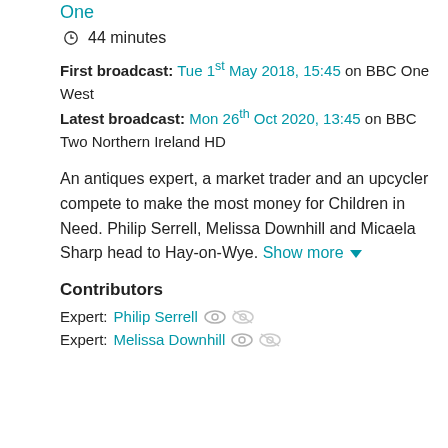One
44 minutes
First broadcast: Tue 1st May 2018, 15:45 on BBC One West
Latest broadcast: Mon 26th Oct 2020, 13:45 on BBC Two Northern Ireland HD
An antiques expert, a market trader and an upcycler compete to make the most money for Children in Need. Philip Serrell, Melissa Downhill and Micaela Sharp head to Hay-on-Wye. Show more
Contributors
Expert: Philip Serrell
Expert: Melissa Downhill